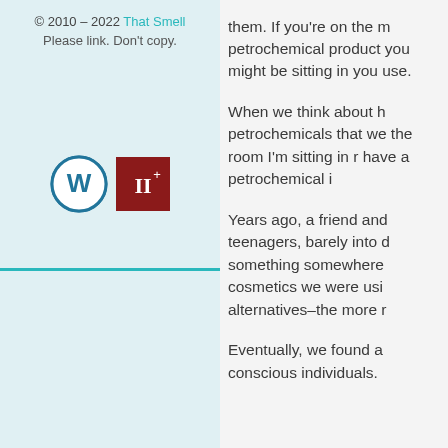© 2010 – 2022 That Smell
Please link. Don't copy.
[Figure (logo): WordPress logo (blue circle with W) and a dark red square with roman numeral II+]
them. If you're on the m petrochemical product you might be sitting in you use.
When we think about h petrochemicals that we the room I'm sitting in r have a petrochemical i
Years ago, a friend and teenagers, barely into d something somewhere cosmetics we were usi alternatives–the more r
Eventually, we found a conscious individuals.